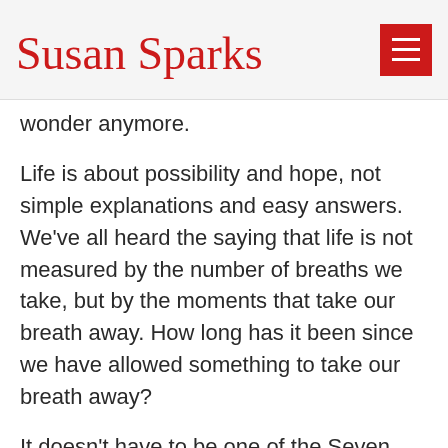Susan Sparks
wonder anymore.
Life is about possibility and hope, not simple explanations and easy answers. We've all heard the saying that life is not measured by the number of breaths we take, but by the moments that take our breath away. How long has it been since we have allowed something to take our breath away?
It doesn't have to be one of the Seven Wonders of the World to make us gasp. The true rich gifts of life are things like a crayon drawing from our three year old, or a morning run with the sun